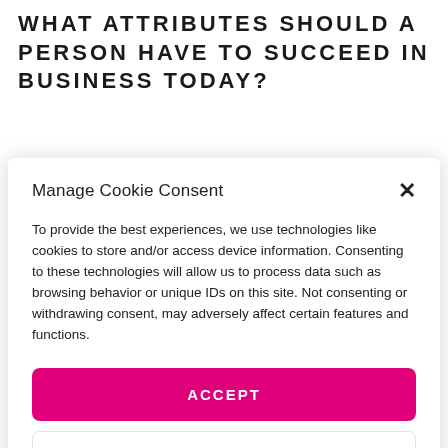WHAT ATTRIBUTES SHOULD A PERSON HAVE TO SUCCEED IN BUSINESS TODAY?
Manage Cookie Consent
To provide the best experiences, we use technologies like cookies to store and/or access device information. Consenting to these technologies will allow us to process data such as browsing behavior or unique IDs on this site. Not consenting or withdrawing consent, may adversely affect certain features and functions.
ACCEPT
DENY
VIEW PREFERENCES
Terms & Conditions